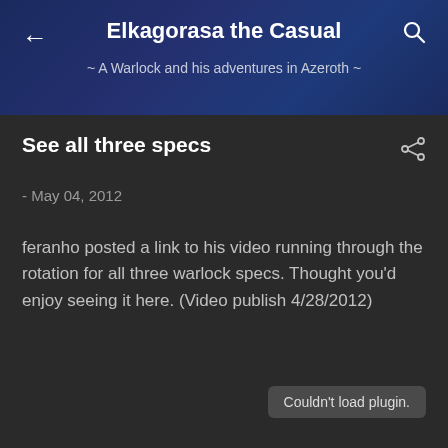Elkagorasa the Casual ~ A Warlock and his adventures in Azeroth ~
See all three specs
- May 04, 2012
feranho posted a link to his video running through the rotation for all three warlock specs. Thought you'd enjoy seeing it here. (Video publish 4/28/2012)
Couldn't load plugin.